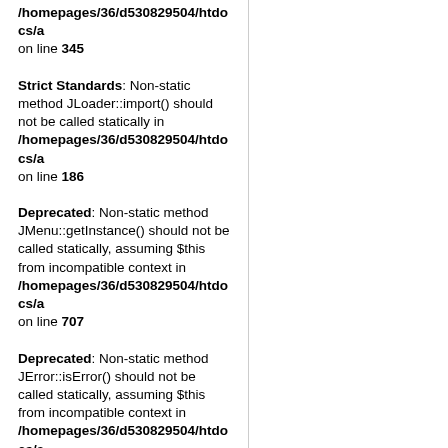/homepages/36/d530829504/htdocs/a on line 345
Strict Standards: Non-static method JLoader::import() should not be called statically in /homepages/36/d530829504/htdocs/a on line 186
Deprecated: Non-static method JMenu::getInstance() should not be called statically, assuming $this from incompatible context in /homepages/36/d530829504/htdocs/a on line 707
Deprecated: Non-static method JError::isError() should not be called statically, assuming $this from incompatible context in /homepages/36/d530829504/htdocs/a on line 708
Deprecated: Non-static method JFactory::getApplication() should not be called statically, assuming $this from incompatible context in /homepages/36/d530829504/htdocs/a on line 401